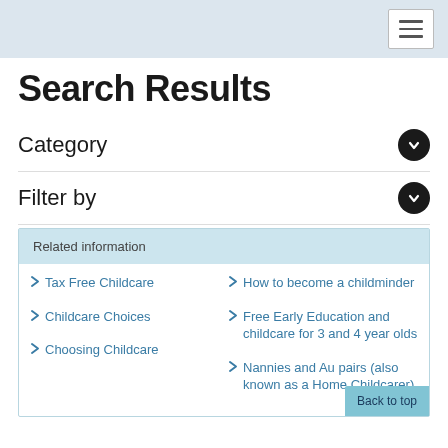Search Results
Category
Filter by
Related information
Tax Free Childcare
How to become a childminder
Childcare Choices
Free Early Education and childcare for 3 and 4 year olds
Choosing Childcare
Nannies and Au pairs (also known as a Home Childcarer)
Back to top